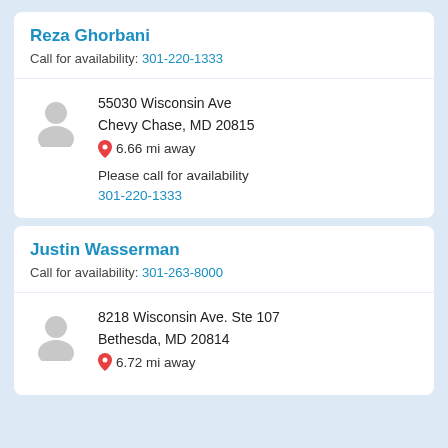Reza Ghorbani
Call for availability: 301-220-1333
55030 Wisconsin Ave
Chevy Chase,  MD 20815
6.66 mi away
Please call for availability
301-220-1333
Justin Wasserman
Call for availability: 301-263-8000
8218 Wisconsin Ave. Ste 107
Bethesda,  MD 20814
6.72 mi away